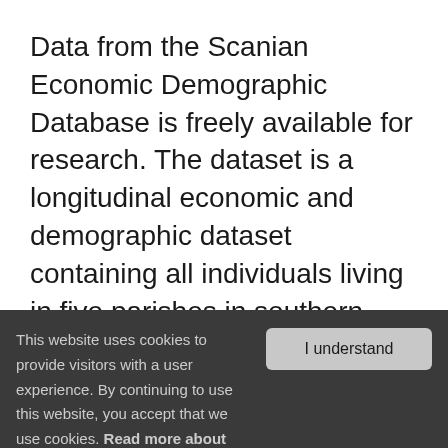Data from the Scanian Economic Demographic Database is freely available for research. The dataset is a longitudinal economic and demographic dataset containing all individuals living in five parishes in southern Sweden for the period after c. 1815. Different versions of the data are numbered (version 2.0 etc) and reference should be made to the
This website uses cookies to provide visitors with a user experience. By continuing to use this website, you accept that we use cookies. Read more about cookies.